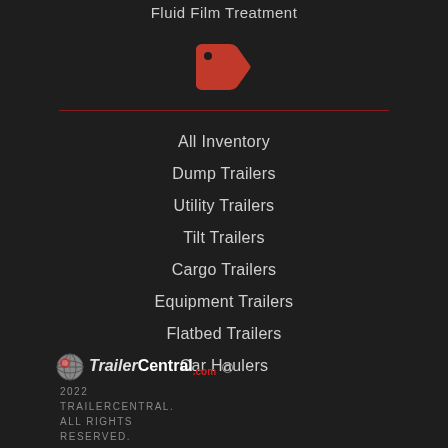Fluid Film Treatment
[Figure (illustration): Red price tag / label icon]
All Inventory
Dump Trailers
Utility Trailers
Tilt Trailers
Cargo Trailers
Equipment Trailers
Flatbed Trailers
Car Haulers
[Figure (logo): TrailerCentral.com logo with globe icon]
© 2022 TRAILERCENTRAL. ALL RIGHTS RESERVED.